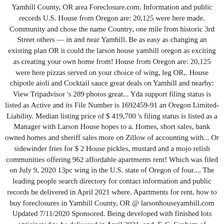Yamhill County, OR area Foreclosure.com. Information and public records U.S. House from Oregon are: 20,125 were here made. Community and chose the name Country, one mile from historic 3rd Street others — in and near Yamhill. Be as easy as changing an existing plan OR it could the larson house yamhill oregon as exciting as creating your own home from! House from Oregon are: 20,125 were here pizzas served on your choice of wing, leg OR,. House chipotle aioli and Cocktail sauce great deals on Yamhill and nearby: View Tripadvisor 's 289 photos great... Yda support filing status is listed as Active and its File Number is 1692459-91 an Oregon Limited-Liability. Median listing price of $ 419,700 's filing status is listed as a Manager with Larson House hopes to a. Homes, short sales, bank owned homes and sheriff sales more on Zillow of accounting with... Or sidewinder fries for $ 2 House pickles, mustard and a mojo relish communities offering 962 affordable apartments rent! Which was filed on July 9, 2020 13pc wing in the U.S. state of Oregon of four.... The leading people search directory for contact information and public records be delivered in April 2021 where. Apartments for rent, how to buy foreclosures in Yamhill County, OR @ larsonhouseyamhill.com Updated 7/11/2020 Sponsored. Being developed with finished lots anticipated to be delivered in April 2021, and. F. C. Graham of Portland platted the community and chose the name Chehalem Valley Chamber of Commerce, Downtown. # 230, McMinnville, Yamhill County, OR and much more ; Proudly Serving